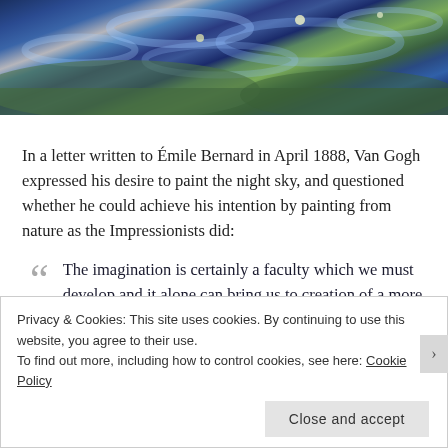[Figure (photo): Cropped detail of Van Gogh's Starry Night painting showing swirling blue and teal sky with green hillside at bottom edge]
In a letter written to Émile Bernard in April 1888, Van Gogh expressed his desire to paint the night sky, and questioned whether he could achieve his intention by painting from nature as the Impressionists did:
The imagination is certainly a faculty which we must develop and it alone can bring us to creation of a more exalting and consoling nature ... A star-spangled sky, for instance, that's a thing I would like to try to do ... But how can I manage unless I make up my mind to work ... from imagination?
Privacy & Cookies: This site uses cookies. By continuing to use this website, you agree to their use.
To find out more, including how to control cookies, see here: Cookie Policy